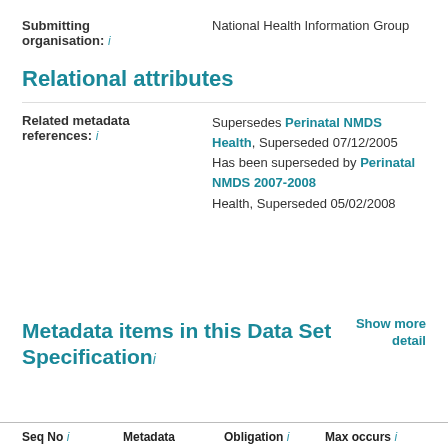Submitting organisation: i    National Health Information Group
Relational attributes
Related metadata references: i    Supersedes Perinatal NMDS Health, Superseded 07/12/2005
Has been superseded by Perinatal NMDS 2007-2008
Health, Superseded 05/02/2008
Show more detail
Metadata items in this Data Set Specification i
| Seq No i | Metadata | Obligation i | Max occurs i |
| --- | --- | --- | --- |